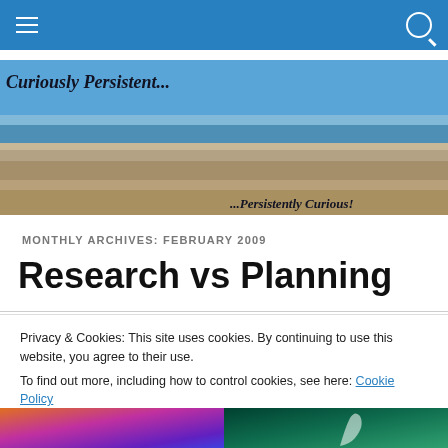Navigation bar with hamburger menu and search icon
[Figure (photo): Beach banner photo with crowded beach, ocean in background. Text overlay: 'Curiously Persistent...' top left, '...Persistently Curious!' bottom right.]
MONTHLY ARCHIVES: FEBRUARY 2009
Research vs Planning
Privacy & Cookies: This site uses cookies. By continuing to use this website, you agree to their use.
To find out more, including how to control cookies, see here: Cookie Policy
Close and accept
[Figure (photo): Bottom strip: left half shows colorful rainbow/purple image, right half shows dark teal/green image with white smoke-like shape.]